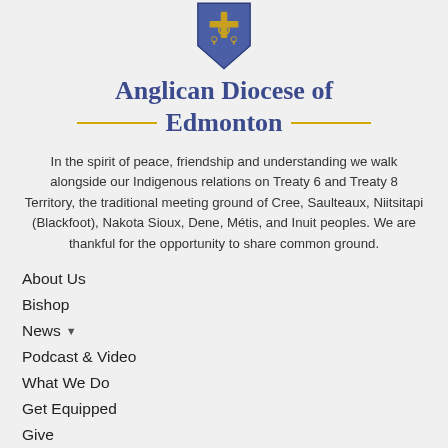[Figure (logo): Anglican Diocese of Edmonton shield/crest logo in blue with gold cross and keys imagery]
Anglican Diocese of Edmonton
In the spirit of peace, friendship and understanding we walk alongside our Indigenous relations on Treaty 6 and Treaty 8 Territory, the traditional meeting ground of Cree, Saulteaux, Niitsitapi (Blackfoot), Nakota Sioux, Dene, Métis, and Inuit peoples. We are thankful for the opportunity to share common ground.
About Us
Bishop
News ▼
Podcast & Video
What We Do
Get Equipped
Give